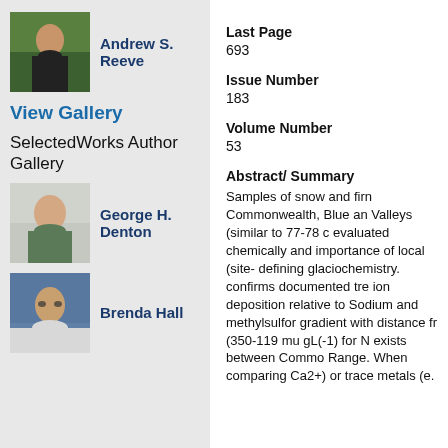[Figure (photo): Photo of Andrew S. Reeve outdoors in front of trees]
Andrew S. Reeve
View Gallery
SelectedWorks Author Gallery
[Figure (photo): Photo of George H. Denton]
George H. Denton
[Figure (photo): Photo of Brenda Hall]
Brenda Hall
Last Page
693
Issue Number
183
Volume Number
53
Abstract/ Summary
Samples of snow and firn Commonwealth, Blue an Valleys (similar to 77-78 c evaluated chemically and importance of local (site- defining glaciochemistry. confirms documented tre ion deposition relative to Sodium and methylsulfor gradient with distance fr (350-119 mu gL(-1) for N exists between Commo Range. When comparing Ca2+) or trace metals (e.